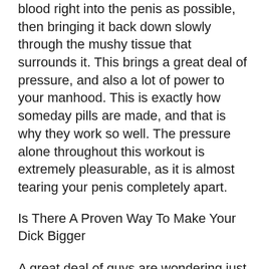blood right into the penis as possible, then bringing it back down slowly through the mushy tissue that surrounds it. This brings a great deal of pressure, and also a lot of power to your manhood. This is exactly how someday pills are made, and that is why they work so well. The pressure alone throughout this workout is extremely pleasurable, as it is almost tearing your penis completely apart.
Is There A Proven Way To Make Your Dick Bigger
A great deal of guys are wondering just how a cock enlargement tablet works and ask yourself whether its temporary gains or long-term. I am going to answer this inquiry for